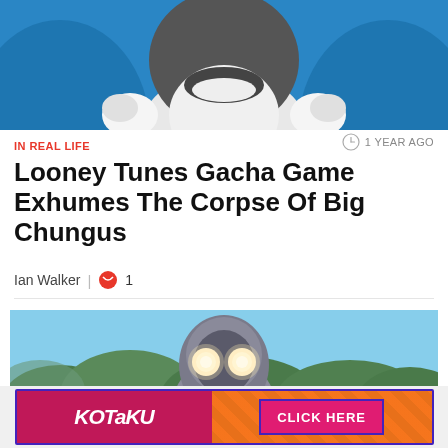[Figure (photo): Cropped top portion of an animated character (appears to be Daffy Duck or similar Looney Tunes character) with white gloved hands visible against a blue background]
IN REAL LIFE
1 YEAR AGO
Looney Tunes Gacha Game Exhumes The Corpse Of Big Chungus
Ian Walker  |  1
[Figure (photo): A giant robot or monster figure (resembling Ultraman) with glowing eyes standing against a background of trees and sky]
[Figure (other): Kotaku advertisement banner with Kotaku logo on left and CLICK HERE button on right, with striped orange/pink pattern]